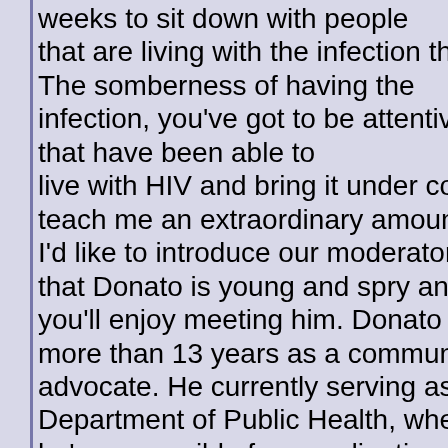weeks to sit down with people that are living with the infection that somber and that positive The somberness of having the infection, you've got to be attentive to your whole life, but that that have been able to live with HIV and bring it under control really weekly or at least teach me an extraordinary amount. I'd like to introduce our moderator for the evening, Donato Cla that Donato is young and spry and you'll enjoy meeting him. Donato has been involved in HIV/AI more than 13 years as a community advocate. He currently serving as the Special Projects Coord Department of Public Health, where he's responsible for coordinating activities related to Atlanta's HIV prevention plan and Georgia's response to the national HIV/AIDS strategy that I ju Donato is a native of Atlanta, he knows our city well. He obtai Business Administration from Georgia State. Donato has been recognized for his academic involvement in public administration and community service. And it's an extraordinary pleasure to have